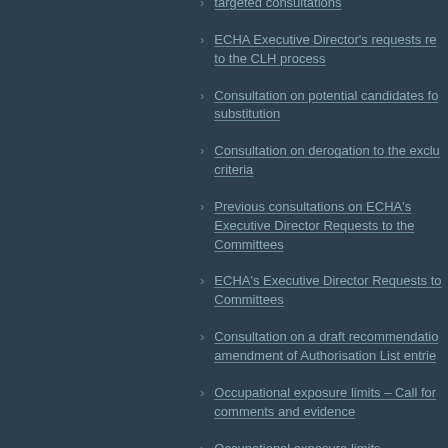targeted consultations
ECHA Executive Director's requests related to the CLH process
Consultation on potential candidates for substitution
Consultation on derogation to the exclusion criteria
Previous consultations on ECHA's Executive Director Requests to the Committees
ECHA's Executive Director Requests to the Committees
Consultation on a draft recommendation for amendment of Authorisation List entries
Occupational exposure limits – Call for comments and evidence
Occupational exposure limits – Consultations on OEL recommendations